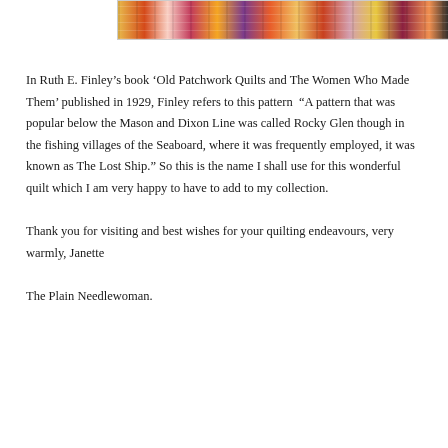[Figure (photo): Top portion of a quilt photo showing colorful patchwork fabric strips in various patterns including floral and geometric designs in orange, pink, purple, red, and black colors.]
In Ruth E. Finley’s book ‘Old Patchwork Quilts and The Women Who Made Them’ published in 1929, Finley refers to this pattern “A pattern that was popular below the Mason and Dixon Line was called Rocky Glen though in the fishing villages of the Seaboard, where it was frequently employed, it was known as The Lost Ship.” So this is the name I shall use for this wonderful quilt which I am very happy to have to add to my collection.
Thank you for visiting and best wishes for your quilting endeavours, very warmly, Janette
The Plain Needlewoman.